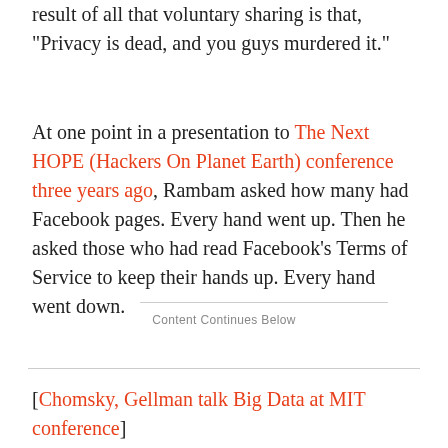result of all that voluntary sharing is that, "Privacy is dead, and you guys murdered it."
At one point in a presentation to The Next HOPE (Hackers On Planet Earth) conference three years ago, Rambam asked how many had Facebook pages. Every hand went up. Then he asked those who had read Facebook's Terms of Service to keep their hands up. Every hand went down.
Content Continues Below
[Chomsky, Gellman talk Big Data at MIT conference]